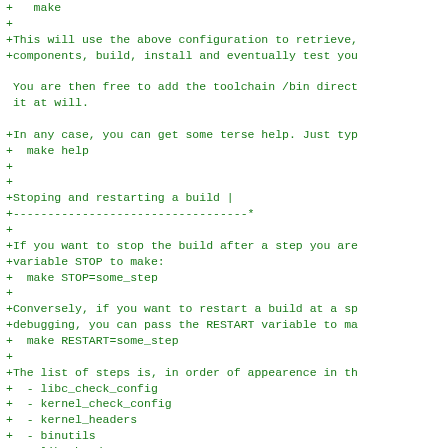+   make
+
+This will use the above configuration to retrieve,
+components, build, install and eventually test you

 You are then free to add the toolchain /bin direct
 it at will.

+In any case, you can get some terse help. Just typ
+  make help
+
+
+Stoping and restarting a build |
+----------------------------------*
+
+If you want to stop the build after a step you are
+variable STOP to make:
+  make STOP=some_step
+
+Conversely, if you want to restart a build at a sp
+debugging, you can pass the RESTART variable to ma
+  make RESTART=some_step
+
+The list of steps is, in order of appearence in th
+  - libc_check_config
+  - kernel_check_config
+  - kernel_headers
+  - binutils
+  - libc_headers
+  - cc_core
+  - libfloat